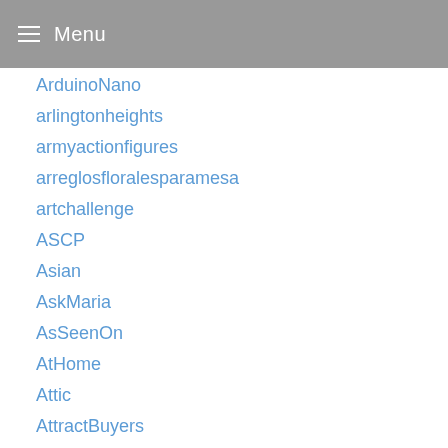Menu
ArduinoNano
arlingtonheights
armyactionfigures
arreglosfloralesparamesa
artchallenge
ASCP
Asian
AskMaria
AsSeenOn
AtHome
Attic
AttractBuyers
atxinteriordesign
austininteriordesigner
Australia
Automotive
BabyClothesClearance